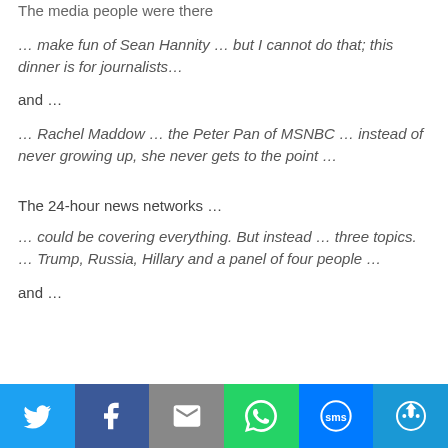The media people were there
… make fun of Sean Hannity … but I cannot do that; this dinner is for journalists…
and …
… Rachel Maddow … the Peter Pan of MSNBC … instead of never growing up, she never gets to the point …
The 24-hour news networks …
… could be covering everything. But instead … three topics. … Trump, Russia, Hillary and a panel of four people …
and …
[Figure (infographic): Social sharing bar with Twitter, Facebook, Email, WhatsApp, SMS, and More buttons]